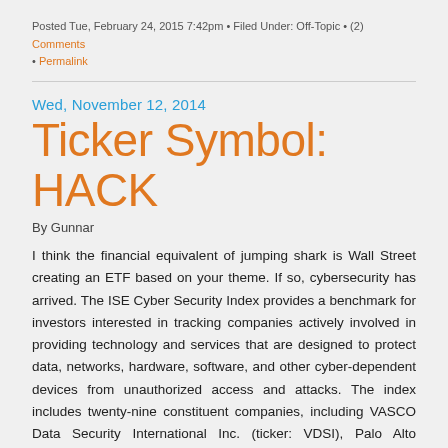Posted Tue, February 24, 2015 7:42pm • Filed Under: Off-Topic • (2) Comments • Permalink
Ticker Symbol: HACK
Wed, November 12, 2014
By Gunnar
I think the financial equivalent of jumping shark is Wall Street creating an ETF based on your theme. If so, cybersecurity has arrived. The ISE Cyber Security Index provides a benchmark for investors interested in tracking companies actively involved in providing technology and services that are designed to protect data, networks, hardware, software, and other cyber-dependent devices from unauthorized access and attacks. The index includes twenty-nine constituent companies, including VASCO Data Security International Inc. (ticker: VDSI), Palo Alto Networks Inc. (ticker: PANW), Symantc Corp. (ticker: SYMC), Juniper Networks Inc. (ticker: JNPR),